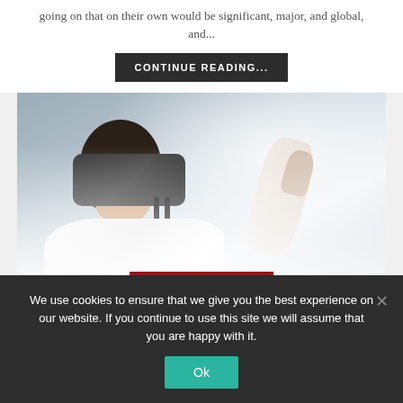going on that on their own would be significant, major, and global, and...
CONTINUE READING...
[Figure (photo): Woman lying in bed wearing a VR headset, raising her hands up as if interacting with virtual content]
HOTEL MARKETING
We use cookies to ensure that we give you the best experience on our website. If you continue to use this site we will assume that you are happy with it.
Ok